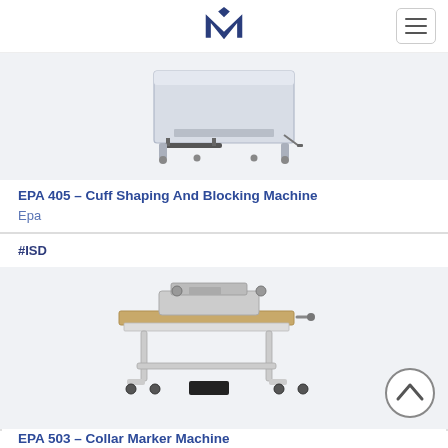M logo and navigation
[Figure (photo): EPA 405 Cuff Shaping And Blocking Machine product photo showing a light grey industrial pressing/blocking machine with a flat work surface, metal frame, foot pedal, and casters]
EPA 405 – Cuff Shaping And Blocking Machine
Epa
#ISD
[Figure (photo): EPA 503 Collar Marker Machine product photo showing an industrial sewing/marking machine mounted on a wooden worktable with metal frame legs and casters, with a scroll-back-to-top button overlay]
EPA 503 – Collar Marker Machine